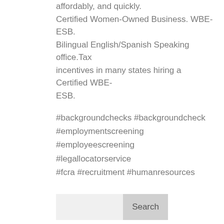affordably, and quickly. Certified Women-Owned Business. WBE-ESB. Bilingual English/Spanish Speaking office.Tax incentives in many states hiring a Certified WBE-ESB.
#backgroundchecks #backgroundcheck #employmentscreening #employeescreening #legallocatorservice #fcra #recruitment #humanresources
Search
Recent Posts
When Screening – Check All of the Applicant's Names